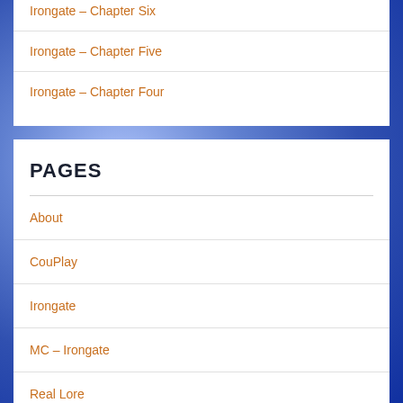Irongate – Chapter Six
Irongate – Chapter Five
Irongate – Chapter Four
PAGES
About
CouPlay
Irongate
MC – Irongate
Real Lore